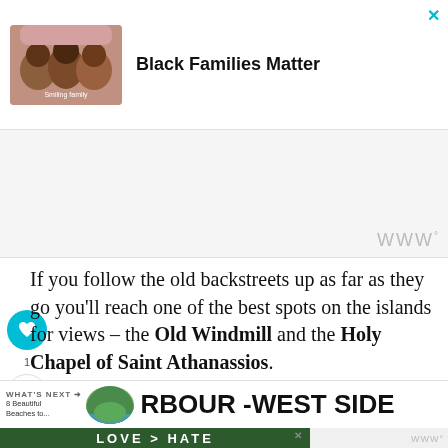[Figure (screenshot): Advertisement banner with photo of smiling family and text 'Black Families Matter', with cyan close X button]
[Figure (screenshot): Gray advertisement block with Wunderkind/WW logo in bottom right]
If you follow the old backstreets up as far as they go you'll reach one of the best spots on the islands for views – the Old Windmill and the Holy Chapel of Saint Athanassios.
[Figure (screenshot): What's Next navigation bar showing '8 Beautiful Beaches to...' with thumbnail and 'RBOUR -WEST SIDE' headline]
[Figure (screenshot): Bottom advertisement banner with 'LOVE > HATE' text on dark green background with hands forming heart shape]